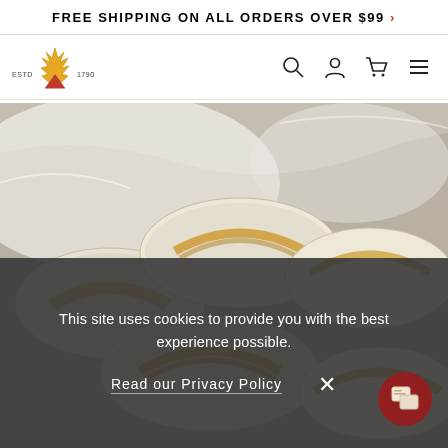FREE SHIPPING ON ALL ORDERS OVER $99 >
[Figure (logo): Brand logo with wheat/crown icon, ESTD 1790 text]
[Figure (photo): Photo of baked pastries (filled dumplings/pierogies) in clear plastic packaging, showing golden-brown filling visible at edges]
This site uses cookies to provide you with the best experience possible.
Read our Privacy Policy  ×